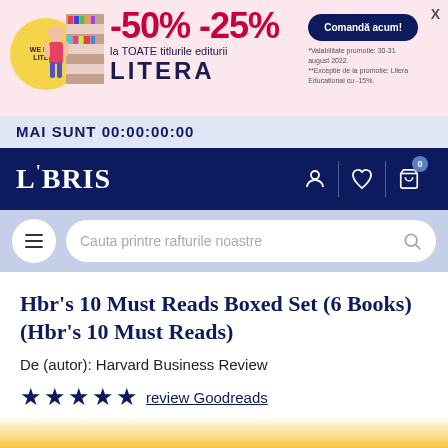[Figure (screenshot): Litera publisher promotional banner with -50% -25% discount on all Litera titles, with illustration, Comanda acum button, and countdown timer MAI SUNT 00:00:00:00]
[Figure (logo): LIBRIS bookstore navigation bar with logo and icons for user, wishlist, and cart]
[Figure (screenshot): Search bar with hamburger menu button and placeholder text: Cauta printre rafturile noastre]
Hbr's 10 Must Reads Boxed Set (6 Books) (Hbr's 10 Must Reads)
De (autor): Harvard Business Review
★★★★★ review Goodreads